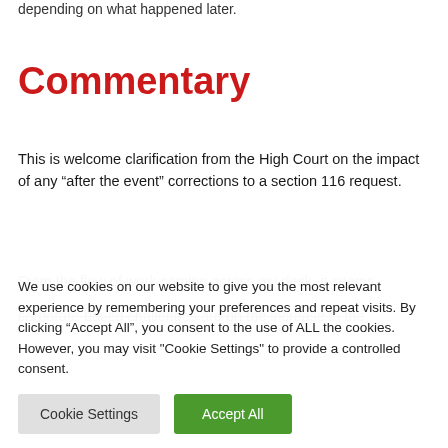depending on what happened later.
Commentary
This is welcome clarification from the High Court on the impact of any “after the event” corrections to a section 116 request.
From the flow of work coming across my desk, it seems corporate-based challenges are on the increase in the
We use cookies on our website to give you the most relevant experience by remembering your preferences and repeat visits. By clicking “Accept All”, you consent to the use of ALL the cookies. However, you may visit "Cookie Settings" to provide a controlled consent.